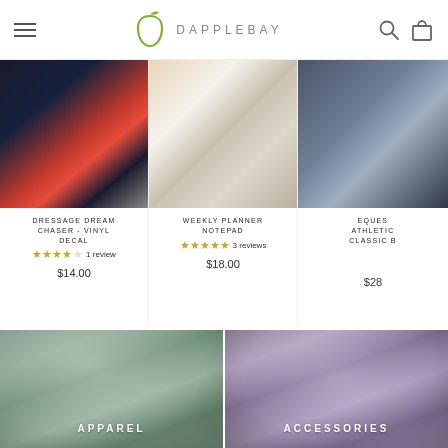[Figure (screenshot): Dapplebay e-commerce website screenshot showing header with logo, product listings, and category sections]
DAPPLEBAY
DRESSAGE DREAM CHASER - VINYL DECAL | 1 review | $14.00
WEEKLY PLANNER NOTEPAD | 3 reviews | $18.00
EQUESTRIAN ATHLETIC CLASSIC B... | $28...
[Figure (photo): Category banner: girl with horse wearing light blue hoodie - APPAREL]
[Figure (photo): Category banner: person with purple tote bag - ACCESSORIES]